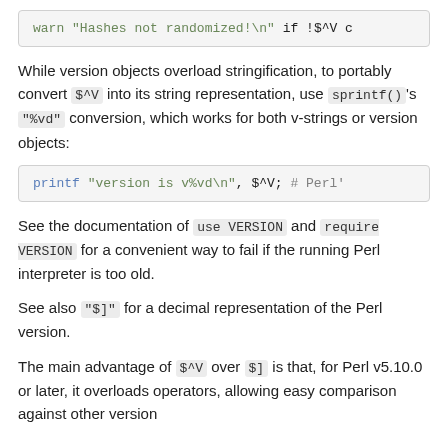warn "Hashes not randomized!\n" if !$^V c
While version objects overload stringification, to portably convert $^V into its string representation, use sprintf()'s "%vd" conversion, which works for both v-strings or version objects:
printf "version is v%vd\n", $^V;  # Perl'
See the documentation of use VERSION and require VERSION for a convenient way to fail if the running Perl interpreter is too old.
See also "$]" for a decimal representation of the Perl version.
The main advantage of $^V over $] is that, for Perl v5.10.0 or later, it overloads operators, allowing easy comparison against other version